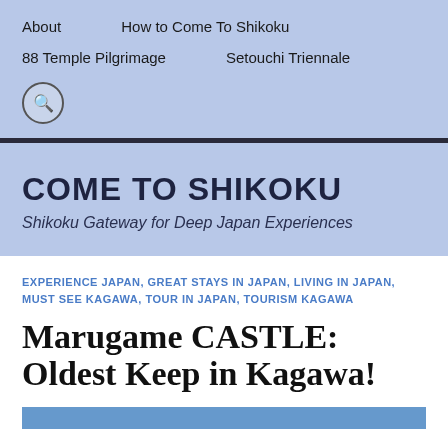About   How to Come To Shikoku   88 Temple Pilgrimage   Setouchi Triennale
COME TO SHIKOKU
Shikoku Gateway for Deep Japan Experiences
EXPERIENCE JAPAN, GREAT STAYS IN JAPAN, LIVING IN JAPAN, MUST SEE KAGAWA, TOUR IN JAPAN, TOURISM KAGAWA
Marugame CASTLE: Oldest Keep in Kagawa!